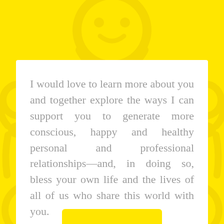[Figure (illustration): Yellow background with light yellow decorative figures/people silhouettes and circular shapes forming a pattern.]
I would love to learn more about you and together explore the ways I can support you to generate more conscious, happy and healthy personal and professional relationships—and, in doing so, bless your own life and the lives of all of us who share this world with you.